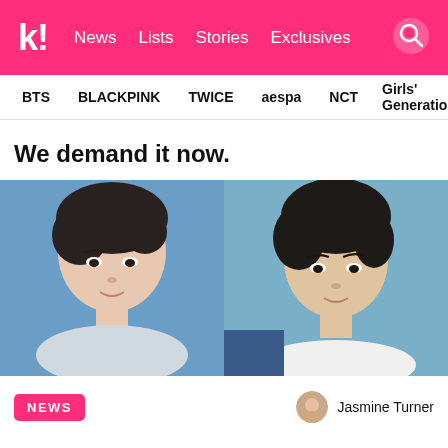k! News Lists Stories Exclusives
BTS  BLACKPINK  TWICE  aespa  NCT  Girls' Generation
We demand it now.
[Figure (photo): Two young Korean male K-pop artists in side-by-side portrait photos against blue backgrounds]
NEWS   Jasmine Turner